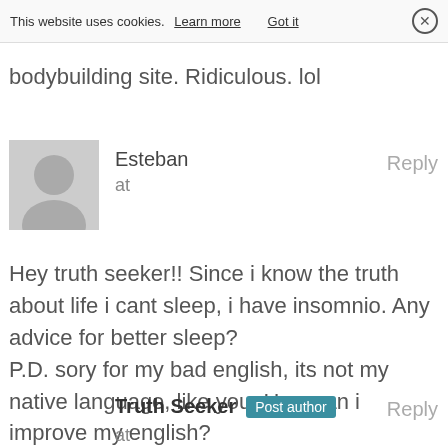This website uses cookies. Learn more  Got it  X
bodybuilding site. Ridiculous. lol
Esteban
at
Reply
Hey truth seeker!! Since i know the truth about life i cant sleep, i have insomnio. Any advice for better sleep?
P.D. sory for my bad english, its not my native language, like you. How can i improve my english?
Truth Seeker  Post author
at
Reply